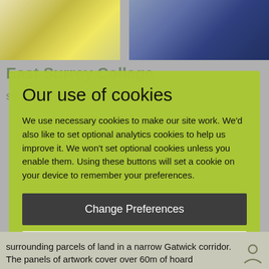[Figure (screenshot): Two background photos at top: left shows a yellow object on grey background, right shows a dark blue mechanical/tool object on grey background.]
Our use of cookies
We use necessary cookies to make our site work. We'd also like to set optional analytics cookies to help us improve it. We won't set optional cookies unless you enable them. Using these buttons will set a cookie on your device to remember your preferences.
Change Preferences
Accept All
surrounding parcels of land in a narrow Gatwick corridor. The panels of artwork cover over 60m of hoard